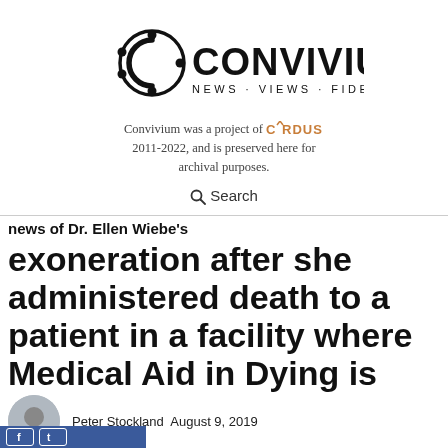[Figure (logo): Convivium logo with circular icon and text CONVIVIUM NEWS · VIEWS · FIDELITY]
Convivium was a project of CARDUS 2011-2022, and is preserved here for archival purposes.
Search
exoneration after she administered death to a patient in a facility where Medical Aid in Dying is prohibited.
Peter Stockland  August 9, 2019